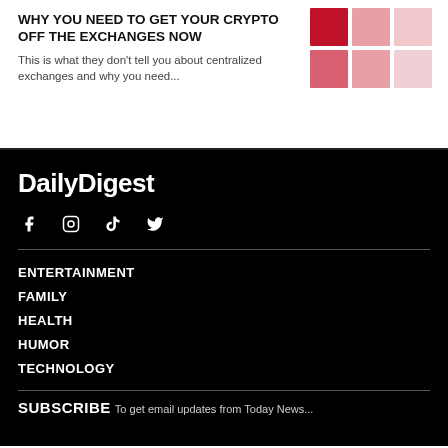WHY YOU NEED TO GET YOUR CRYPTO OFF THE EXCHANGES NOW
This is what they don't tell you about centralized exchanges and why you need...
[Figure (illustration): 2x3 grid of small thumbnail images in shades of red/pink representing an article image]
DailyDigest
[Figure (other): Social media icons: Facebook, Instagram, TikTok, Twitter]
ENTERTAINMENT
FAMILY
HEALTH
HUMOR
TECHNOLOGY
SUBSCRIBE
To get email updates from Today News...